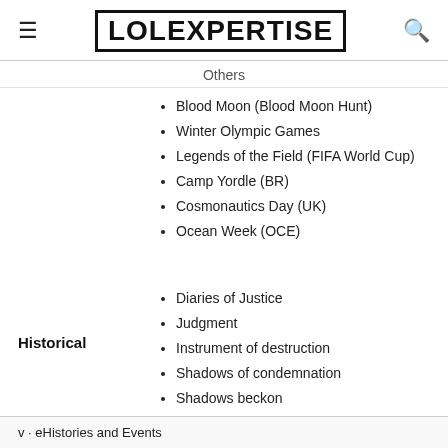LOLEXPERTISE
Others
Blood Moon (Blood Moon Hunt)
Winter Olympic Games
Legends of the Field (FIFA World Cup)
Camp Yordle (BR)
Cosmonautics Day (UK)
Ocean Week (OCE)
Diaries of Justice
Judgment
Historical
Instrument of destruction
Shadows of condemnation
Shadows beckon
v · eHistories and Events